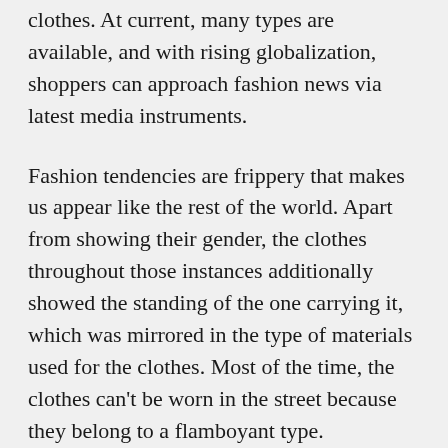clothes. At current, many types are available, and with rising globalization, shoppers can approach fashion news via latest media instruments.
Fashion tendencies are frippery that makes us appear like the rest of the world. Apart from showing their gender, the clothes throughout those instances additionally showed the standing of the one carrying it, which was mirrored in the type of materials used for the clothes. Most of the time, the clothes can't be worn in the street because they belong to a flamboyant type.
Individuals observe fashion trends are